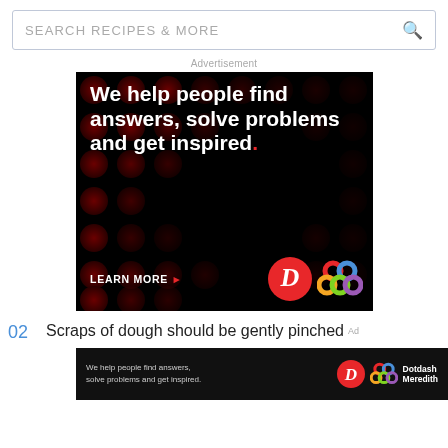SEARCH RECIPES & MORE
Advertisement
[Figure (illustration): Dark advertisement banner with red polka dot background pattern. Large white bold text reads 'We help people find answers, solve problems and get inspired.' with a red period. Below is 'LEARN MORE' with a red arrow, a red circle D logo, and a colorful interlocked rings logo.]
02  Scraps of dough should be gently pinched
[Figure (illustration): Small dark advertisement banner strip reading 'We help people find answers, solve problems and get inspired.' with D logo and Dotdash Meredith branding.]